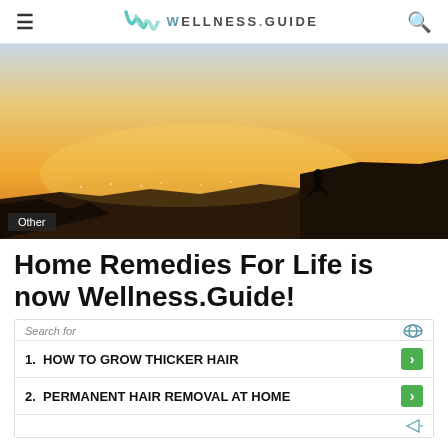≡  WELLNESS.GUIDE  🔍
[Figure (photo): A person silhouetted against a warm sunset sky, sitting on a rocky cliff edge overlooking a cityscape. The sky transitions from gold/yellow near the horizon to deeper tones above. A dark label 'Other' appears in the lower-left corner of the image.]
Home Remedies For Life is now Wellness.Guide!
Search for
1. HOW TO GROW THICKER HAIR
2. PERMANENT HAIR REMOVAL AT HOME